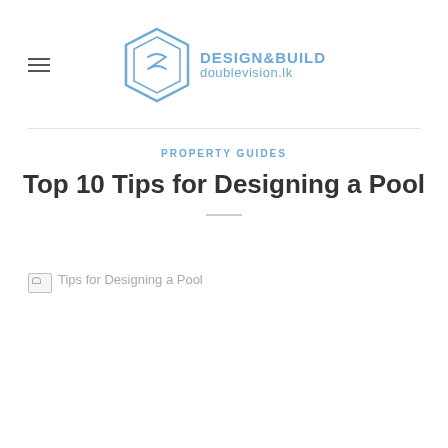DESIGN&BUILD doublevision.lk
PROPERTY GUIDES
Top 10 Tips for Designing a Pool
[Figure (photo): Broken image placeholder: Tips for Designing a Pool]